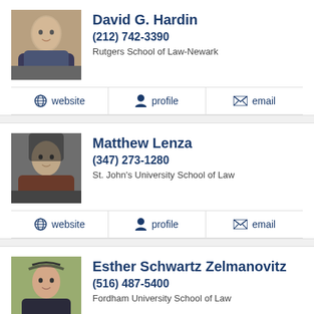David G. Hardin
(212) 742-3390
Rutgers School of Law-Newark
website  profile  email
Matthew Lenza
(347) 273-1280
St. John's University School of Law
website  profile  email
Esther Schwartz Zelmanovitz
(516) 487-5400
Fordham University School of Law
website  profile  email